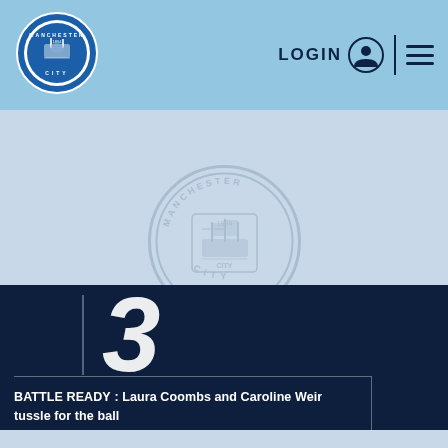Manchester City – LOGIN navigation header
[Figure (logo): Manchester City FC crest badge — circular blue and white badge with ship, eagle and shield motif, text MANCHESTER CITY around edge]
BATTLE READY : Laura Coombs and Caroline Weir tussle for the ball
3